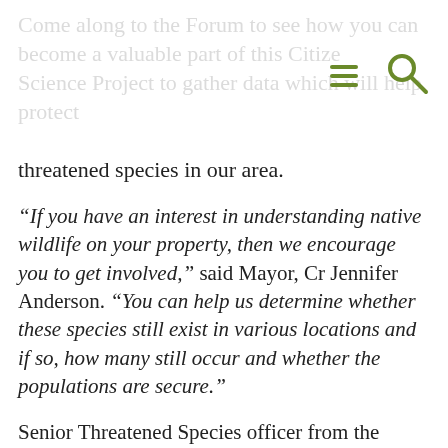Come along to the Forum to see how you can become a valuable part of this Citizen Science Project to gather data which will help protect threatened species in our area.
“If you have an interest in understanding native wildlife on your property, then we encourage you to get involved,” said Mayor, Cr Jennifer Anderson. “You can help us determine whether these species still exist in various locations and if so, how many still occur and whether the populations are secure.”
Senior Threatened Species officer from the Office of Environment and Heritage NSW Dr Todd Soderquist will be sharing his knowledge gleaned from many years of researching and radio tagging Powerful Owls and phascogales in Central Victoria. Also presenting will be Dr Ross Goldingay, an expert on gliders from